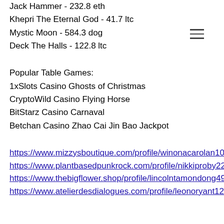Jack Hammer - 232.8 eth
Khepri The Eternal God - 41.7 ltc
Mystic Moon - 584.3 dog
Deck The Halls - 122.8 ltc
Popular Table Games:
1xSlots Casino Ghosts of Christmas
CryptoWild Casino Flying Horse
BitStarz Casino Carnaval
Betchan Casino Zhao Cai Jin Bao Jackpot
https://www.mizzysboutique.com/profile/winonacarolan1076744/profile
https://www.plantbasedpunkrock.com/profile/nikkiproby2270996/profile
https://www.thebigflower.shop/profile/lincolntamondong4958671/profile
https://www.atelierdesdialogues.com/profile/leonoryant12624748/profile